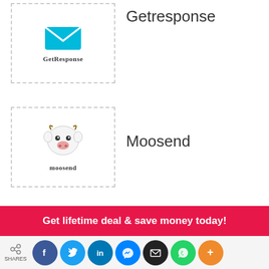[Figure (logo): GetResponse logo: cyan envelope icon with text 'GetResponse' below, inside dashed border box]
Getresponse
[Figure (logo): Moosend logo: cartoon cow face mascot with text 'moosend' below, inside dashed border box]
Moosend
Related Tools
[Figure (logo): Ginger Software logo shown in a white card]
Ginger Software
[Figure (other): Green scroll-to-top button with upward chevron]
Get lifetime deal & save money today!
SHARES [social share icons: Facebook, Twitter, LinkedIn, Messenger, Email, WhatsApp, More]